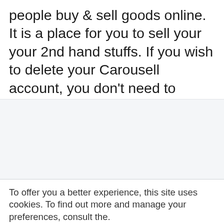people buy & sell goods online. It is a place for you to sell your your 2nd hand stuffs. If you wish to delete your Carousell account, you don't need to worry, we'll show you exactly how to … Read more
To offer you a better experience, this site uses cookies. To find out more and manage your preferences, consult the.